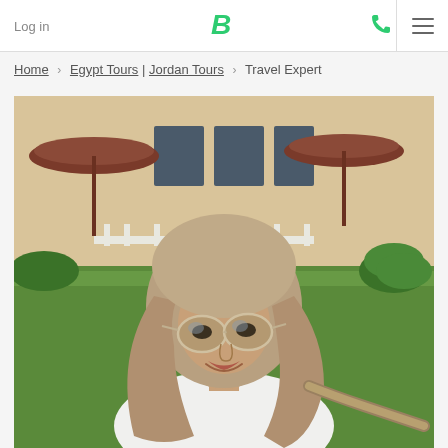Log in
Home › Egypt Tours | Jordan Tours › Travel Expert
[Figure (photo): A woman wearing a tan/beige hijab and mirrored sunglasses, smiling, in a white shirt. Background shows a resort/hotel area with green lawns, flowering shrubs, dark red umbrellas, white fencing, and beige building walls.]